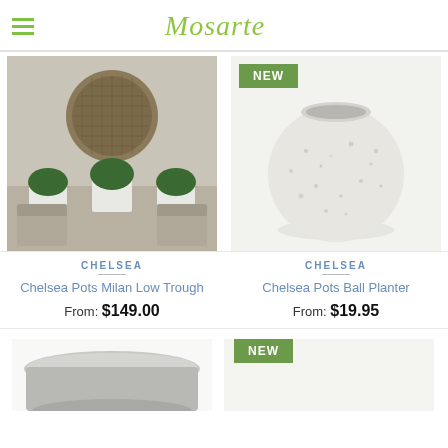Mosarte
[Figure (photo): Outdoor patio scene with round woven wall art, three potted boxwood plants in white planters, and wicker chairs]
[Figure (photo): White speckled round ball planter on white background with NEW badge]
CHELSEA
Chelsea Pots Milan Low Trough
From: $149.00
CHELSEA
Chelsea Pots Ball Planter
From: $19.95
[Figure (photo): Grey flat shallow planter dish, partial view at bottom left]
[Figure (photo): NEW badge visible at bottom right, product partially shown]